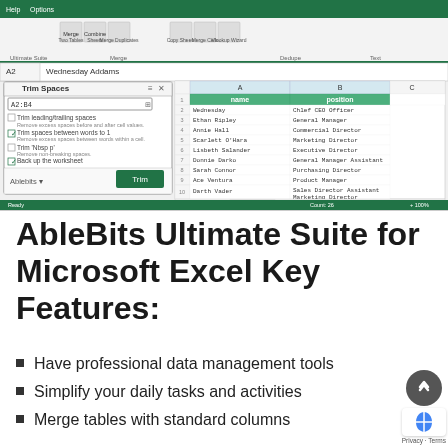[Figure (screenshot): Screenshot of Microsoft Excel with AbleBits Ultimate Suite ribbon add-in showing the Trim Spaces dialog panel on the left and a staff list spreadsheet on the right]
AbleBits Ultimate Suite for Microsoft Excel Key Features:
Have professional data management tools
Simplify your daily tasks and activities
Merge tables with standard columns